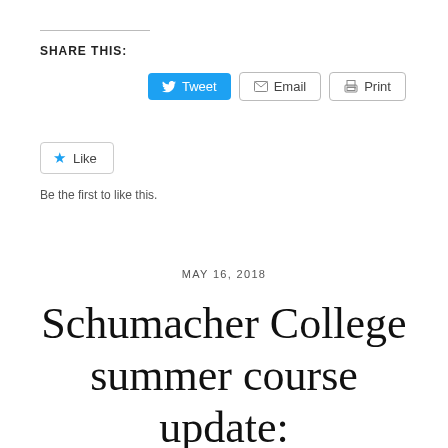SHARE THIS:
[Figure (screenshot): Social sharing buttons: Tweet (blue, Twitter bird icon), Email (envelope icon), Print (printer icon)]
[Figure (screenshot): Like button with blue star icon and text 'Like']
Be the first to like this.
MAY 16, 2018
Schumacher College summer course update: